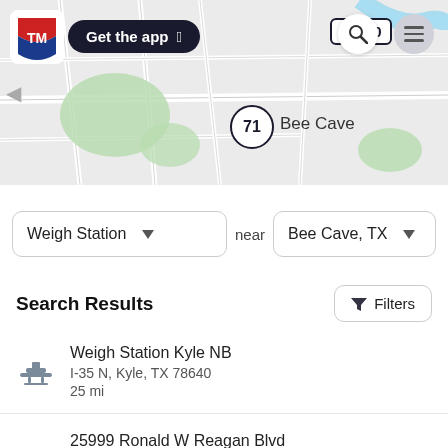[Figure (map): Street map showing Bee Cave, TX area with route 71 and FM 620 markers, green park areas, and a river in the upper right.]
Get the app
Weigh Station near Bee Cave, TX
Search Results
Filters
Weigh Station Kyle NB
I-35 N, Kyle, TX 78640
25 mi
25999 Ronald W Reagan Blvd
25999 Ronald W Reagan Blvd, Georgetown, TX